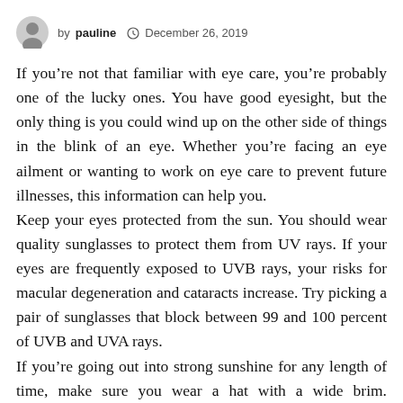by pauline  December 26, 2019
If you’re not that familiar with eye care, you’re probably one of the lucky ones. You have good eyesight, but the only thing is you could wind up on the other side of things in the blink of an eye. Whether you’re facing an eye ailment or wanting to work on eye care to prevent future illnesses, this information can help you.
Keep your eyes protected from the sun. You should wear quality sunglasses to protect them from UV rays. If your eyes are frequently exposed to UVB rays, your risks for macular degeneration and cataracts increase. Try picking a pair of sunglasses that block between 99 and 100 percent of UVB and UVA rays.
If you’re going out into strong sunshine for any length of time, make sure you wear a hat with a wide brim. Although sunglasses do protect your eyes to a certain